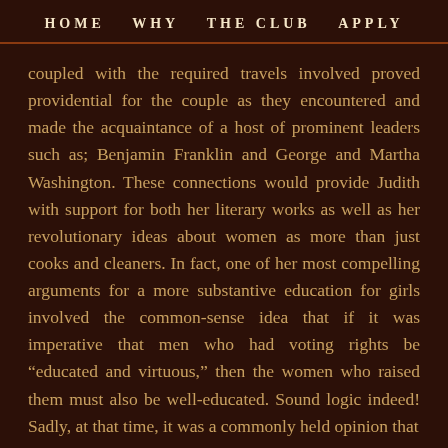HOME   WHY   THE CLUB   APPLY
coupled with the required travels involved proved providential for the couple as they encountered and made the acquaintance of a host of prominent leaders such as; Benjamin Franklin and George and Martha Washington. These connections would provide Judith with support for both her literary works as well as her revolutionary ideas about women as more than just cooks and cleaners. In fact, one of her most compelling arguments for a more substantive education for girls involved the common-sense idea that if it was imperative that men who had voting rights be “educated and virtuous,” then the women who raised them must also be well-educated. Sound logic indeed! Sadly, at that time, it was a commonly held opinion that